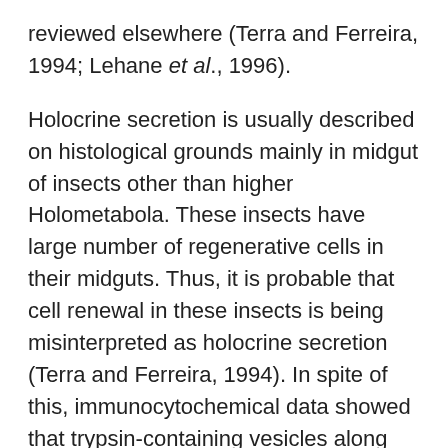reviewed elsewhere (Terra and Ferreira, 1994; Lehane et al., 1996).
Holocrine secretion is usually described on histological grounds mainly in midgut of insects other than higher Holometabola. These insects have large number of regenerative cells in their midguts. Thus, it is probable that cell renewal in these insects is being misinterpreted as holocrine secretion (Terra and Ferreira, 1994). In spite of this, immunocytochemical data showed that trypsin-containing vesicles along with cell organelles are discharged by opaque zone cells of adult stable flies, suggesting holocrine secretion (Jordão et al., 1996a).
Exocytic, apocrine, and microaprocrine secretory mechanisms depend largely on midgut regions. Digestive enzymes are usually secreted by exocytosis in the posterior midgut, whereas alternate